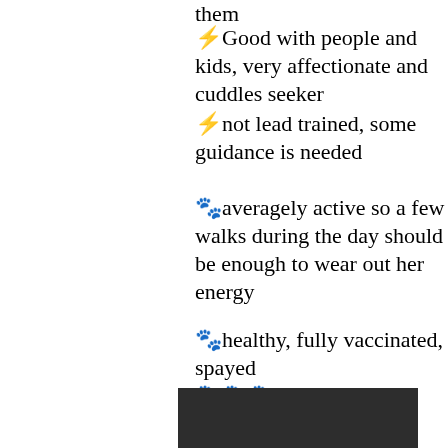them
⚡Good with people and kids, very affectionate and cuddles seeker
⚡not lead trained, some guidance is needed
🐾averagely active so a few walks during the day should be enough to wear out her energy
🐾healthy, fully vaccinated, spayed
🐾🐾🐾RBU provided
[Figure (photo): Dark/black background photo, partially visible at bottom of page]